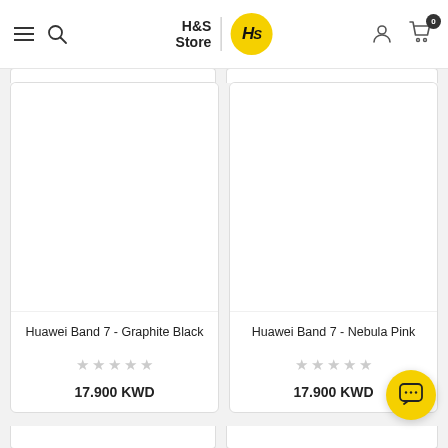[Figure (logo): H&S Store logo with yellow circle containing HS initials]
[Figure (photo): Huawei Band 7 - Graphite Black product image area (blank white)]
Huawei Band 7 - Graphite Black
17.900 KWD
[Figure (photo): Huawei Band 7 - Nebula Pink product image area (blank white)]
Huawei Band 7 - Nebula Pink
17.900 KWD